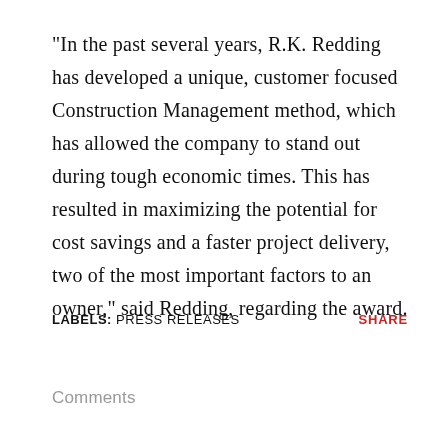"In the past several years, R.K. Redding has developed a unique, customer focused Construction Management method, which has allowed the company to stand out during tough economic times. This has resulted in maximizing the potential for cost savings and a faster project delivery, two of the most important factors to an owner," said Redding, regarding the award.
LABELS: PRESS RELEASES    SHARE
Comments